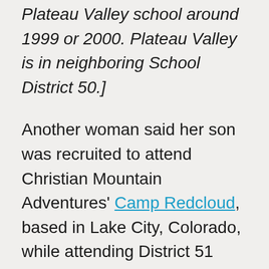Plateau Valley school around 1999 or 2000. Plateau Valley is in neighboring School District 50.]
Another woman said her son was recruited to attend Christian Mountain Adventures' Camp Redcloud, based in Lake City, Colorado, while attending District 51 schools. Camp Redcloud was founded “to serve and minister to the kids of Western Colorado and